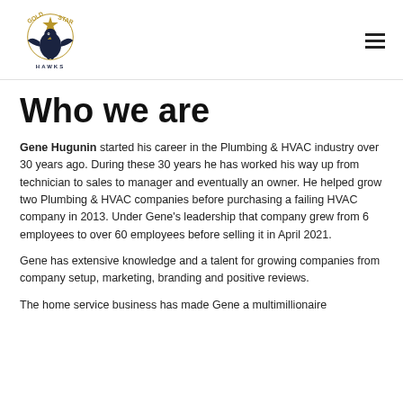[Figure (logo): Gold Star Hawks logo with eagle/hawk and text HAWKS]
Who we are
Gene Hugunin started his career in the Plumbing & HVAC industry over 30 years ago. During these 30 years he has worked his way up from technician to sales to manager and eventually an owner. He helped grow two Plumbing & HVAC companies before purchasing a failing HVAC company in 2013. Under Gene's leadership that company grew from 6 employees to over 60 employees before selling it in April 2021.
Gene has extensive knowledge and a talent for growing companies from company setup, marketing, branding and positive reviews.
The home service business has made Gene a multimillionaire